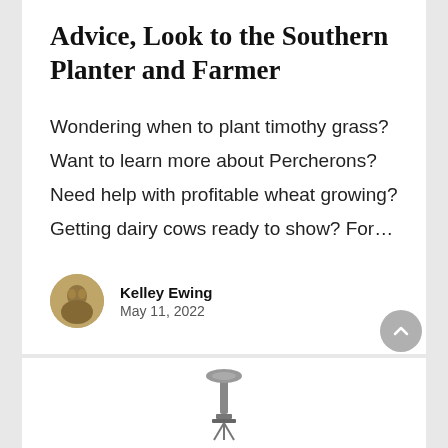Advice, Look to the Southern Planter and Farmer
Wondering when to plant timothy grass? Want to learn more about Percherons? Need help with profitable wheat growing? Getting dairy cows ready to show? For…
Kelley Ewing
May 11, 2022
[Figure (photo): Small decorative illustration at bottom of page, appears to be a lamp or candelabra figure]